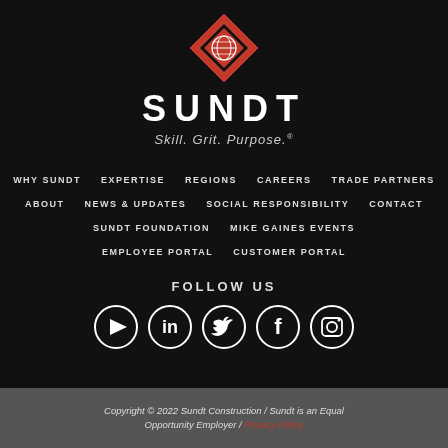[Figure (logo): Sundt Construction logo: red diamond shape with globe icon, white SUNDT text, italic tagline 'Skill. Grit. Purpose.']
WHY SUNDT
EXPERTISE
REGIONS
CAREERS
TRADE PARTNERS
ABOUT
NEWS & UPDATES
SOCIAL RESPONSIBILITY
CONTACT
SUNDT FOUNDATION
MIKE GAINES EVENTS
EMPLOYEE PORTAL
CUSTOMER PORTAL
FOLLOW US
[Figure (other): Social media icons: YouTube, LinkedIn, Twitter, Facebook, Instagram — white circle outlines on dark background]
Copyright © 2022 Sundt Construction / Sundt is an Equal Opportunity Employer / Privacy Policy